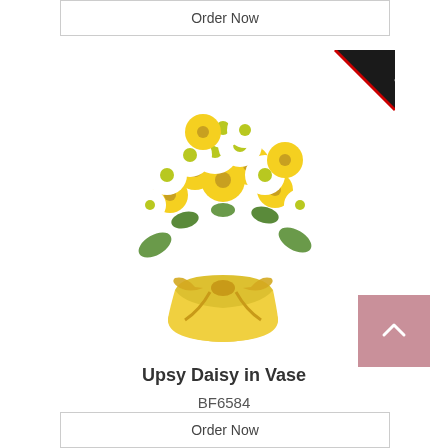Order Now
[Figure (photo): A bouquet of yellow and white daisy flowers in a round yellow vase with a yellow gingham ribbon bow. A black diagonal banner with 'SUNNY' text is shown in the top-right corner of the image.]
Upsy Daisy in Vase
BF6584
from $59.97 USD
Order Now